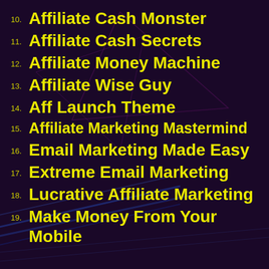10. Affiliate Cash Monster
11. Affiliate Cash Secrets
12. Affiliate Money Machine
13. Affiliate Wise Guy
14. Aff Launch Theme
15. Affiliate Marketing Mastermind
16. Email Marketing Made Easy
17. Extreme Email Marketing
18. Lucrative Affiliate Marketing
19. Make Money From Your Mobile